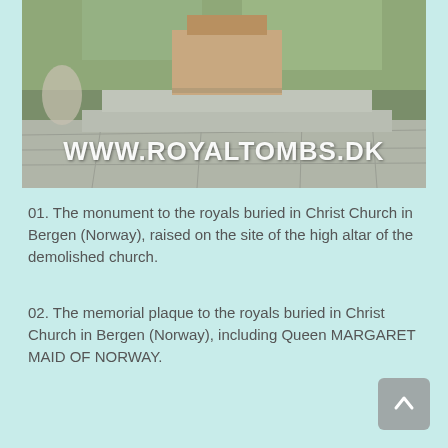[Figure (photo): Photograph of a stone monument/memorial in a garden setting, raised on a wide stone base with flagstone paving and greenery in the background. Watermark text 'WWW.ROYALTOMBS.DK' overlaid on the image.]
01. The monument to the royals buried in Christ Church in Bergen (Norway), raised on the site of the high altar of the demolished church.
02. The memorial plaque to the royals buried in Christ Church in Bergen (Norway), including Queen MARGARET MAID OF NORWAY.